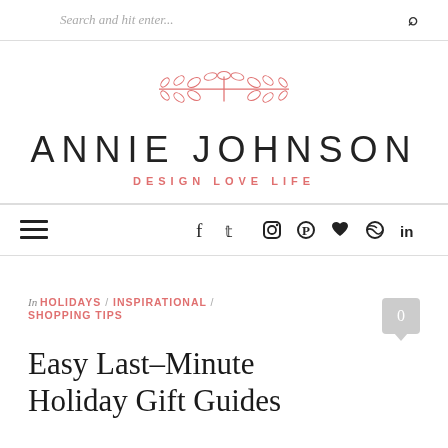Search and hit enter...
[Figure (illustration): Pink/coral decorative leaf/branch illustration used as logo decoration]
ANNIE JOHNSON
DESIGN LOVE LIFE
[Figure (other): Navigation bar with hamburger menu and social media icons: f (Facebook), Twitter, Instagram, Pinterest, heart, Dribbble, LinkedIn]
In HOLIDAYS / INSPIRATIONAL / SHOPPING TIPS
Easy Last-Minute Holiday Gift Guides